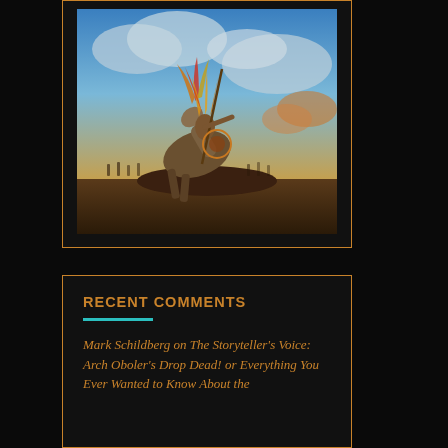[Figure (illustration): Painting of a Native American warrior on a rearing horse, elaborately decorated with feathers and ceremonial regalia, against a dramatic cloudy sky background]
RECENT COMMENTS
Mark Schildberg on The Storyteller's Voice: Arch Oboler's Drop Dead! or Everything You Ever Wanted to Know About the